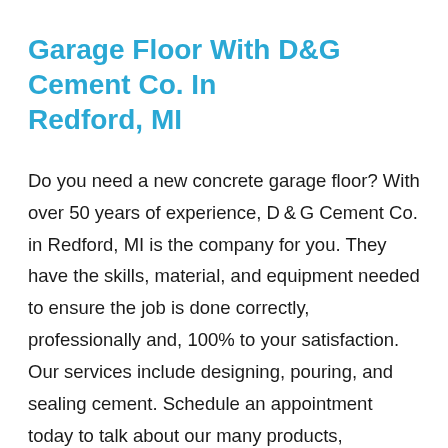Garage Floor With D&G Cement Co. In Redford, MI
Do you need a new concrete garage floor? With over 50 years of experience, D & G Cement Co. in Redford, MI is the company for you. They have the skills, material, and equipment needed to ensure the job is done correctly, professionally and, 100% to your satisfaction. Our services include designing, pouring, and sealing cement. Schedule an appointment today to talk about our many products, services, and options. To learn more about our top-quality cement products and